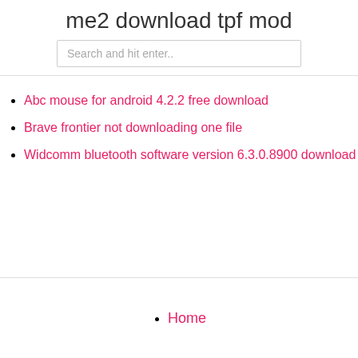me2 download tpf mod
Abc mouse for android 4.2.2 free download
Brave frontier not downloading one file
Widcomm bluetooth software version 6.3.0.8900 download
Home